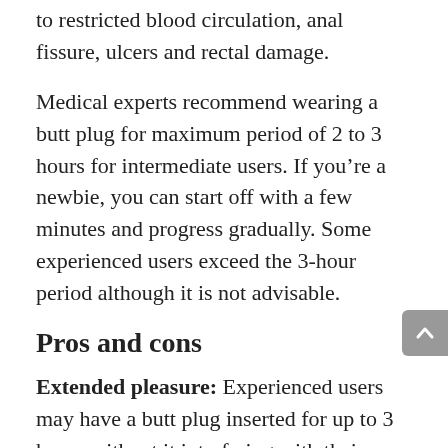to restricted blood circulation, anal fissure, ulcers and rectal damage.
Medical experts recommend wearing a butt plug for maximum period of 2 to 3 hours for intermediate users. If you're a newbie, you can start off with a few minutes and progress gradually. Some experienced users exceed the 3-hour period although it is not advisable.
Pros and cons
Extended pleasure: Experienced users may have a butt plug inserted for up to 3 hours without it interfering with their regular routines. You would